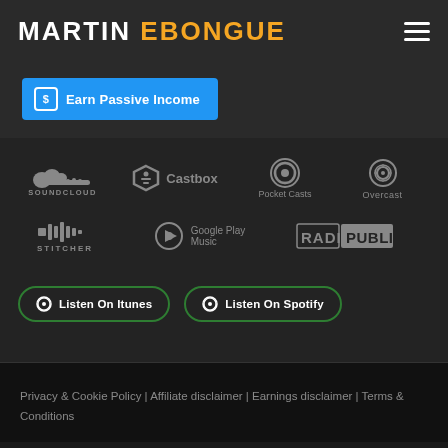MARTIN EBONGUE
Earn Passive Income
[Figure (logo): Podcast platform logos: SoundCloud, Castbox, Pocket Casts, Overcast, Stitcher, Google Play Music, Radio Public]
Listen On Itunes | Listen On Spotify
Privacy & Cookie Policy | Affiliate disclaimer | Earnings disclaimer | Terms & Conditions